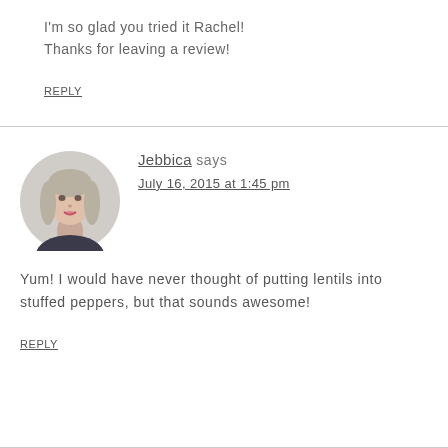I'm so glad you tried it Rachel! Thanks for leaving a review!
REPLY
Jebbica says
July 16, 2015 at 1:45 pm
Yum! I would have never thought of putting lentils into stuffed peppers, but that sounds awesome!
REPLY